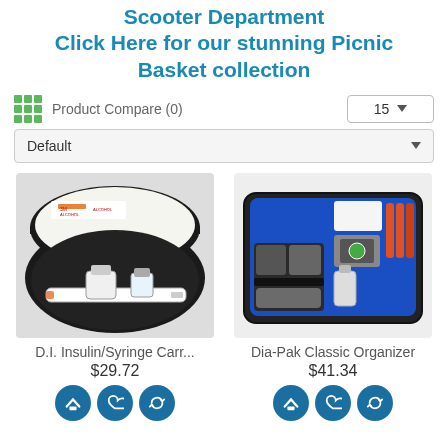Scooter Department Click Here for our stunning Picnic Basket collection
Product Compare (0)
[Figure (screenshot): Product listing page with toolbar showing grid icon, Product Compare (0), sort by 15 dropdown, Default dropdown filter]
[Figure (photo): D.I. Insulin/Syringe carrying case open showing syringe and insulin vials]
D.I. Insulin/Syringe Carr...
$29.72
[Figure (photo): Dia-Pak Classic Organizer open showing blue interior with diabetes supplies]
Dia-Pak Classic Organizer
$41.34